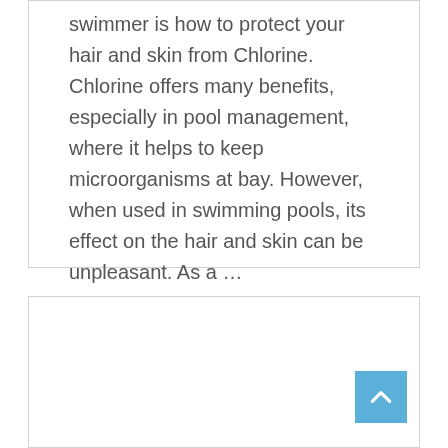swimmer is how to protect your hair and skin from Chlorine. Chlorine offers many benefits, especially in pool management, where it helps to keep microorganisms at bay. However, when used in swimming pools, its effect on the hair and skin can be unpleasant. As a …
Read More
[Figure (other): Scroll-to-top button with upward chevron arrow on light blue background]